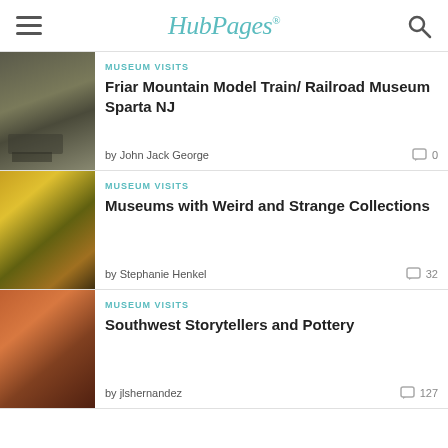HubPages
MUSEUM VISITS
Friar Mountain Model Train/ Railroad Museum Sparta NJ
by John Jack George
0
MUSEUM VISITS
Museums with Weird and Strange Collections
by Stephanie Henkel
32
MUSEUM VISITS
Southwest Storytellers and Pottery
by jlshernandez
127